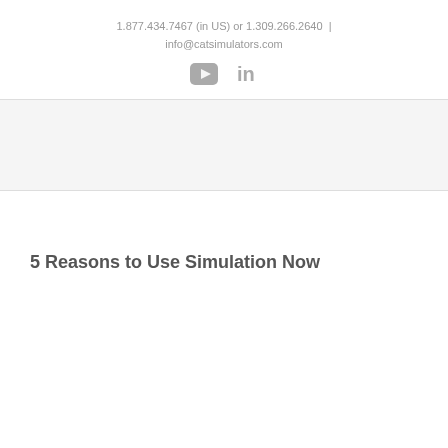1.877.434.7467 (in US) or 1.309.266.2640  |  info@catsimulators.com
[Figure (logo): YouTube and LinkedIn social media icons in gray]
5 Reasons to Use Simulation Now